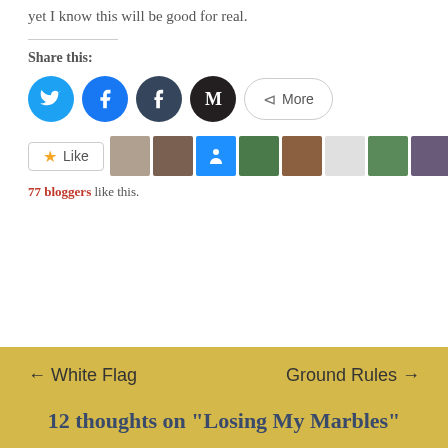yet I know this will be good for real.
Share this:
[Figure (other): Social share buttons: Twitter (blue circle), Facebook (blue circle), Tumblr (dark circle), Medium (black circle with M), and a More button]
[Figure (other): Like button with star icon and 10 blogger avatar thumbnails]
77 bloggers like this.
← White Flag    Ground Rules →
12 thoughts on “Losing My Marbles”